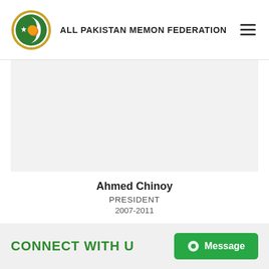ALL PAKISTAN MEMON FEDERATION
[Figure (photo): Portrait photo placeholder area for Ahmed Chinoy, shown as a light gray rectangle]
Ahmed Chinoy
PRESIDENT
2007-2011
CONNECT WITH US